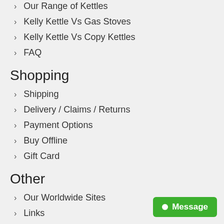Our Range of Kettles
Kelly Kettle Vs Gas Stoves
Kelly Kettle Vs Copy Kettles
FAQ
Shopping
Shipping
Delivery / Claims / Returns
Payment Options
Buy Offline
Gift Card
Other
Our Worldwide Sites
Links
User Gallery
Become a Reseller
Blog
Competition